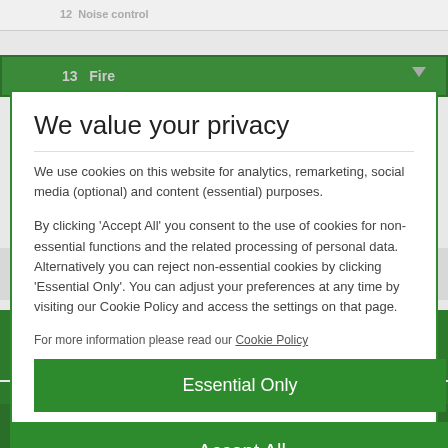12  Noise control
13  Fire
We value your privacy
We use cookies on this website for analytics, remarketing, social media (optional) and content (essential) purposes.

By clicking 'Accept All' you consent to the use of cookies for non-essential functions and the related processing of personal data. Alternatively you can reject non-essential cookies by clicking 'Essential Only'. You can adjust your preferences at any time by visiting our Cookie Policy and access the settings on that page.
For more information please read our Cookie Policy
Essential Only
Accept All
Nippon Sheet Glass Co., Ltd
Head Office - 3-5-27 Mita Minato-ku Tokyo
About this site | Cookie Policy | Legal Notice | Privacy Policy |
© Copyright 2022